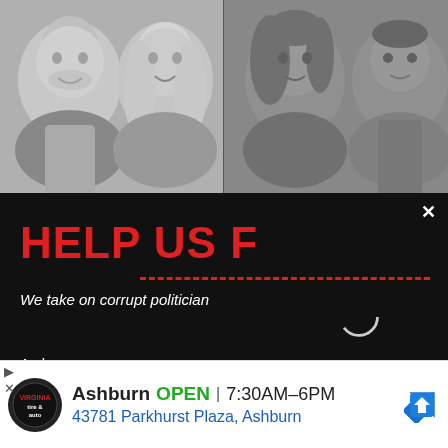[Figure (photo): Four black-and-white headshot photos of people (two men and two women) in a horizontal strip at the top of the page]
[Figure (screenshot): A popup overlay on a dark background with red bold text reading 'HELP US F' (partially obscured), subtitle 'We take on corrupt politicians' (partially obscured), a loading spinner circle, text 'As long as' and 'we will k' (both partially obscured by an overlapping video/loading area), and an X close button in the top right corner]
[Figure (screenshot): Bottom advertisement bar showing Virginia Tire and Auto logo, text 'Ashburn OPEN 7:30AM-6PM' and '43781 Parkhurst Plaza, Ashburn' with a blue navigation arrow icon on the right. Small left-edge navigation arrows (play and X) on the bottom left.]